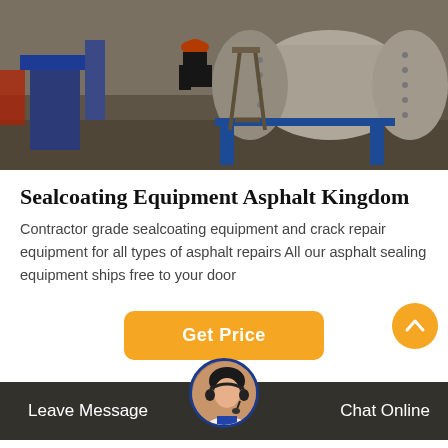[Figure (photo): Industrial factory scene with a worker in hard hat standing near large cylindrical equipment on blue metal stands in a warehouse]
Sealcoating Equipment Asphalt Kingdom
Contractor grade sealcoating equipment and crack repair equipment for all types of asphalt repairs All our asphalt sealing equipment ships free to your door
[Figure (other): Orange 'Get Price' button and scroll-to-top circular button]
[Figure (photo): Customer service agent photo in circular frame with blue border, positioned above dark footer bar]
Leave Message   Chat Online